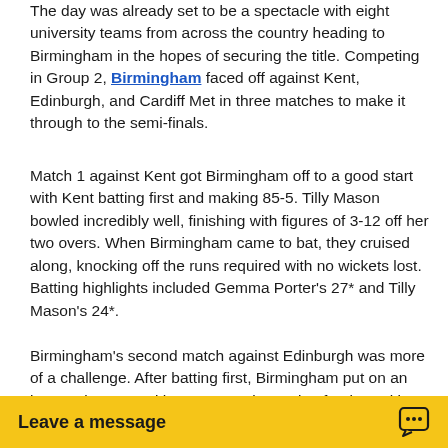The day was already set to be a spectacle with eight university teams from across the country heading to Birmingham in the hopes of securing the title. Competing in Group 2, Birmingham faced off against Kent, Edinburgh, and Cardiff Met in three matches to make it through to the semi-finals.
Match 1 against Kent got Birmingham off to a good start with Kent batting first and making 85-5. Tilly Mason bowled incredibly well, finishing with figures of 3-12 off her two overs. When Birmingham came to bat, they cruised along, knocking off the runs required with no wickets lost. Batting highlights included Gemma Porter's 27* and Tilly Mason's 24*.
Birmingham's second match against Edinburgh was more of a challenge. After batting first, Birmingham put on an impressive 82-4 with Mason again scoring freely, making 28*. She was well supported by Ellie Harris who defied Edinburgh's bowlers and scored an extra 11* runs to Birmingham's total. Once again Birmingham bowled well...